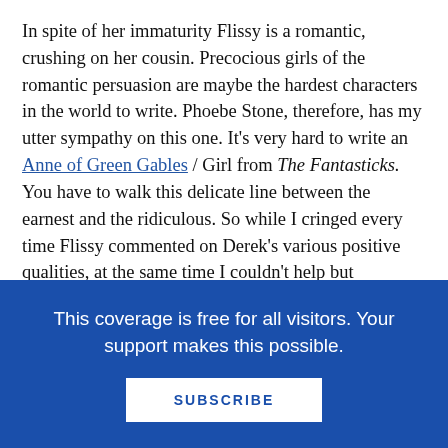In spite of her immaturity Flissy is a romantic, crushing on her cousin. Precocious girls of the romantic persuasion are maybe the hardest characters in the world to write. Phoebe Stone, therefore, has my utter sympathy on this one. It's very hard to write an Anne of Green Gables / Girl from The Fantasticks. You have to walk this delicate line between the earnest and the ridiculous. So while I cringed every time Flissy commented on Derek's various positive qualities, at the same time I couldn't help but acknowledge the truth behind them. Girls really do think that way. It's not necessarily pleasant to read, but it's honest.

Some folks have found the surprise at the ending of
This coverage is free for all visitors. Your support makes this possible.
SUBSCRIBE